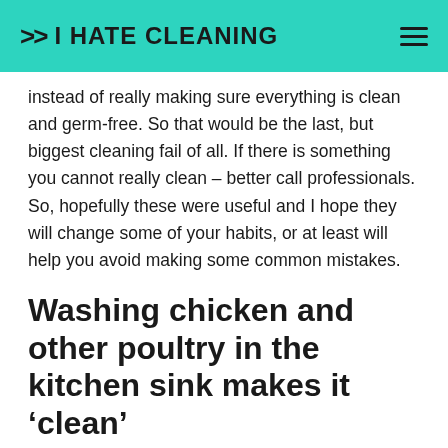>> I HATE CLEANING
instead of really making sure everything is clean and germ-free. So that would be the last, but biggest cleaning fail of all. If there is something you cannot really clean – better call professionals. So, hopefully these were useful and I hope they will change some of your habits, or at least will help you avoid making some common mistakes.
Washing chicken and other poultry in the kitchen sink makes it ‘clean’
No it doesn’t. What it does is increase the chances of cross-contamination. If the poultry is contaminated with salmonella, or campylobacter,